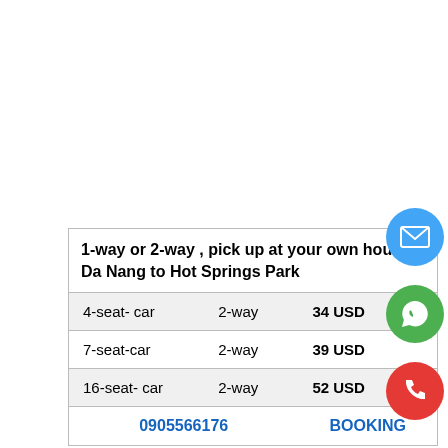| 1-way or 2-way , pick up at your own house, Da Nang to Hot Springs Park |  |  |
| --- | --- | --- |
| 4-seat- car | 2-way | 34 USD |
| 7-seat-car | 2-way | 39 USD |
| 16-seat- car | 2-way | 52 USD |
| 0905566176 |  | BOOKING |